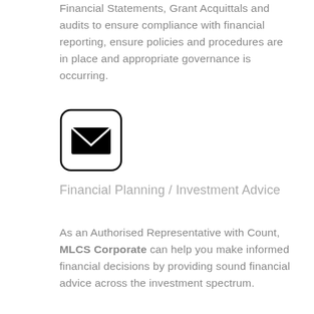Financial Statements, Grant Acquittals and audits to ensure compliance with financial reporting, ensure policies and procedures are in place and appropriate governance is occurring.
[Figure (illustration): A black envelope icon inside a rounded square border]
Financial Planning / Investment Advice
As an Authorised Representative with Count, MLCS Corporate can help you make informed financial decisions by providing sound financial advice across the investment spectrum.